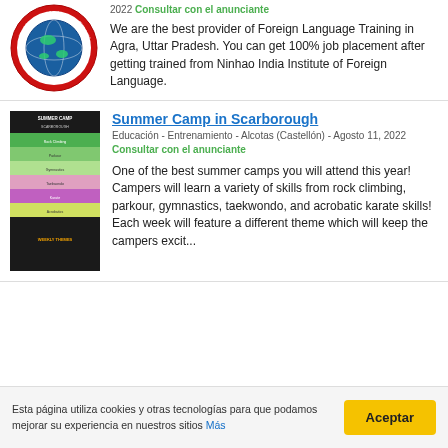[Figure (logo): Circular red logo with globe/earth graphic, likely Ninhao India Institute of Foreign Language]
2022 Consultar con el anunciante
We are the best provider of Foreign Language Training in Agra, Uttar Pradesh. You can get 100% job placement after getting trained from Ninhao India Institute of Foreign Language.
Summer Camp in Scarborough
Educación - Entrenamiento - Alcotas (Castellón) - Agosto 11, 2022 Consultar con el anunciante
[Figure (photo): Colorful promotional flyer image for Summer Camp in Scarborough showing activities]
One of the best summer camps you will attend this year! Campers will learn a variety of skills from rock climbing, parkour, gymnastics, taekwondo, and acrobatic karate skills! Each week will feature a different theme which will keep the campers excit...
Esta página utiliza cookies y otras tecnologías para que podamos mejorar su experiencia en nuestros sitios Más